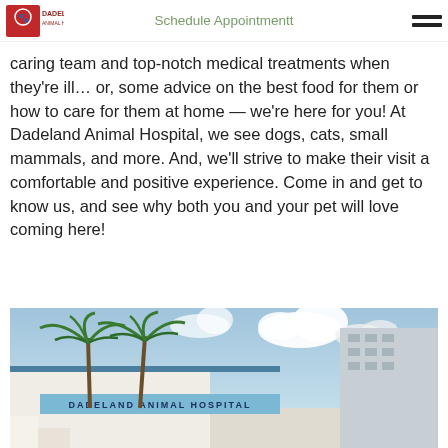Dadeland Animal Hospital | Schedule Appointmentt
caring team and top-notch medical treatments when they're ill… or, some advice on the best food for them or how to care for them at home — we're here for you! At Dadeland Animal Hospital, we see dogs, cats, small mammals, and more. And, we'll strive to make their visit a comfortable and positive experience. Come in and get to know us, and see why both you and your pet will love coming here!
[Figure (photo): Exterior photo of Dadeland Animal Hospital building with palm trees in front, blue sign reading DADELAND ANIMAL HOSPITAL, and a tall building visible in the background under a partly cloudy sky.]